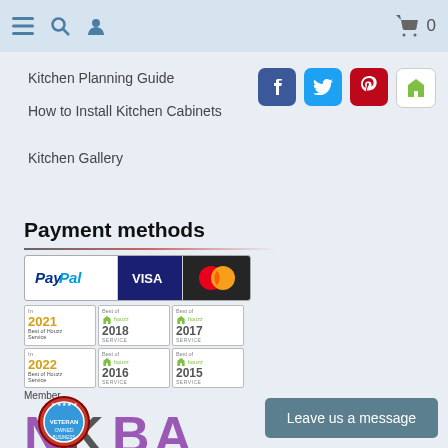Navigation bar with menu, search, user icons and cart (0)
Kitchen Planning Guide
How to Install Kitchen Cabinets
Kitchen Gallery
[Figure (logo): Social media icons: Facebook, Twitter, Pinterest, Houzz]
Payment methods
[Figure (logo): Payment logos: PayPal, Visa, MasterCard]
[Figure (logo): Best of Houzz awards: 2021, 2018, 2017, 2022, 2016, 2015]
[Figure (logo): Member NKBA logo]
[Figure (logo): Veteran Owned Business badge]
Leave us a message